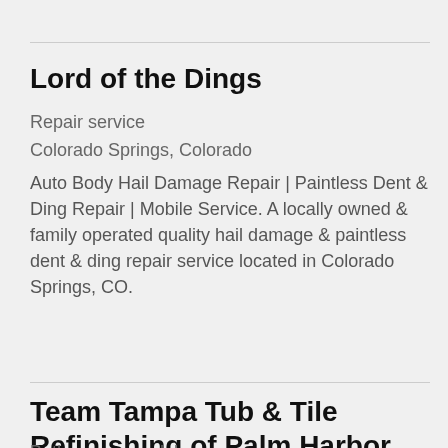Lord of the Dings
Repair service
Colorado Springs, Colorado
Auto Body Hail Damage Repair | Paintless Dent & Ding Repair | Mobile Service. A locally owned & family operated quality hail damage & paintless dent & ding repair service located in Colorado Springs, CO.
Team Tampa Tub & Tile Refinishing of Palm Harbor
Bathroom remodeler
Palm Harbor, FL